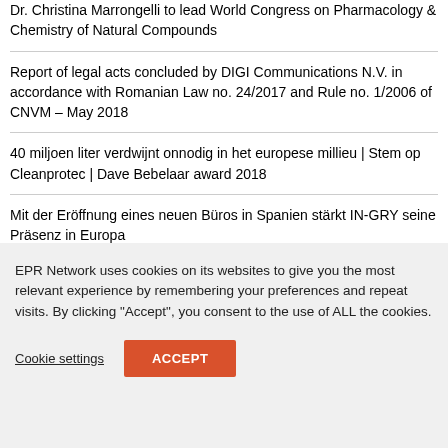Dr. Christina Marrongelli to lead World Congress on Pharmacology & Chemistry of Natural Compounds
Report of legal acts concluded by DIGI Communications N.V. in accordance with Romanian Law no. 24/2017 and Rule no. 1/2006 of CNVM – May 2018
40 miljoen liter verdwijnt onnodig in het europese millieu | Stem op Cleanprotec | Dave Bebelaar award 2018
Mit der Eröffnung eines neuen Büros in Spanien stärkt IN-GRY seine Präsenz in Europa
EPR Network uses cookies on its websites to give you the most relevant experience by remembering your preferences and repeat visits. By clicking "Accept", you consent to the use of ALL the cookies.
Cookie settings | ACCEPT